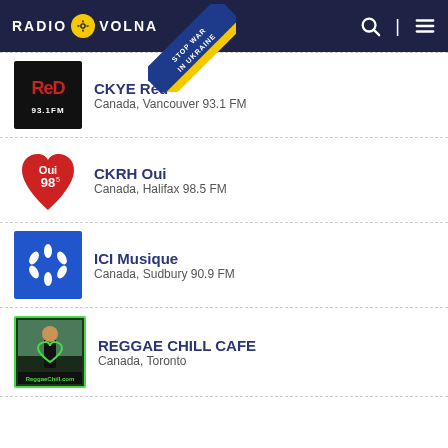RADIO VOLNA
[Figure (screenshot): Stop War In Ukraine banner ribbon diagonal]
CKYE Red — Canada, Vancouver 93.1 FM
CKRH Oui — Canada, Halifax 98.5 FM
ICI Musique — Canada, Sudbury 90.9 FM
REGGAE CHILL CAFE — Canada, Toronto